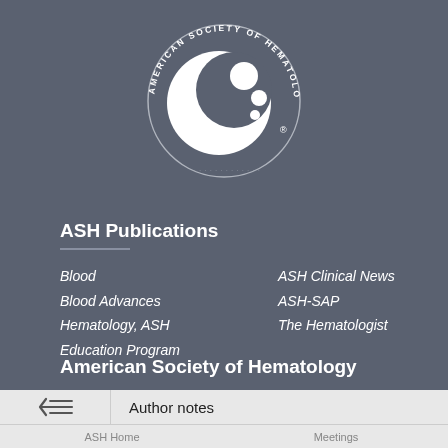[Figure (logo): American Society of Hematology circular logo with white circles on dark background and text around the perimeter]
ASH Publications
Blood
Blood Advances
Hematology, ASH Education Program
ASH Clinical News
ASH-SAP
The Hematologist
American Society of Hematology
Author notes
ASH Home   Meetings